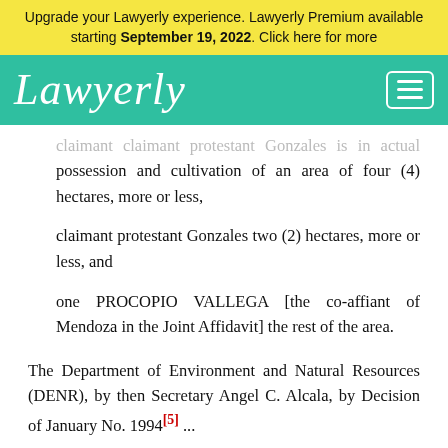Upgrade your Lawyerly experience. Lawyerly Premium available starting September 19, 2022. Click here for more
[Figure (logo): Lawyerly logo in white cursive script on teal/green background with hamburger menu icon]
claimant claimant protestant Gonzales is in actual possession and cultivation of an area of four (4) hectares, more or less,
claimant protestant Gonzales two (2) hectares, more or less, and
one PROCOPIO VALLEGA [the co-affiant of Mendoza in the Joint Affidavit] the rest of the area.
The Department of Environment and Natural Resources (DENR), by then Secretary Angel C. Alcala, by Decision of January No. 1994 [5] ...